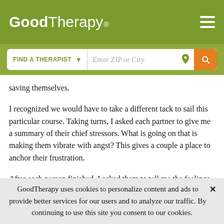GoodTherapy®
saving themselves.
I recognized we would have to take a different tack to sail this particular course. Taking turns, I asked each partner to give me a summary of their chief stressors. What is going on that is making them vibrate with angst? This gives a couple a place to anchor their frustration.
After each person finished, I asked them to tell me the feelings that were attached to events or complaints. I prompted them with their own examples, and they reported
GoodTherapy uses cookies to personalize content and ads to provide better services for our users and to analyze our traffic. By continuing to use this site you consent to our cookies.